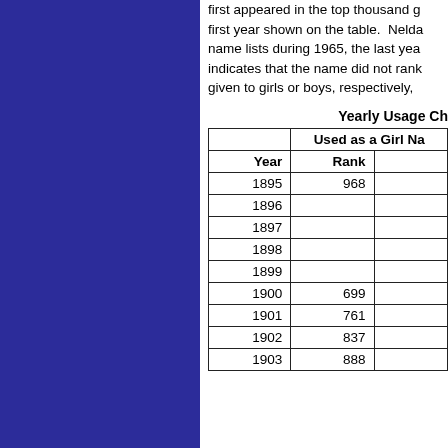first appeared in the top thousand girls first year shown on the table.  Nelda name lists during 1965, the last yea indicates that the name did not rank given to girls or boys, respectively,
Yearly Usage Ch
| Year | Rank |  |
| --- | --- | --- |
| 1895 | 968 |  |
| 1896 |  |  |
| 1897 |  |  |
| 1898 |  |  |
| 1899 |  |  |
| 1900 | 699 |  |
| 1901 | 761 |  |
| 1902 | 837 |  |
| 1903 | 888 |  |